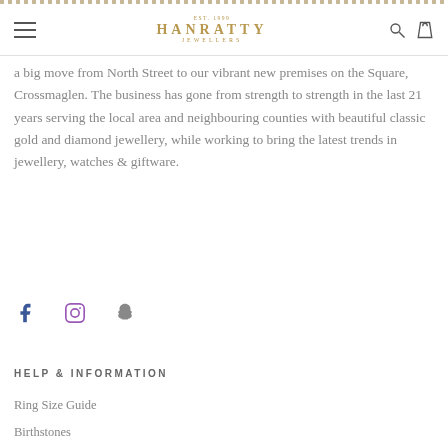HANRATTY JEWELLERS
a big move from North Street to our vibrant new premises on the Square, Crossmaglen.  The business has gone from strength to strength in the last 21 years serving the local area and neighbouring counties with beautiful classic gold and diamond jewellery, while working to bring the latest trends in jewellery, watches & giftware.
[Figure (other): Social media icons: Facebook, Instagram, Snapchat]
HELP & INFORMATION
Ring Size Guide
Birthstones
Jewellery & Watch Repairs
Book a Personal Appointment